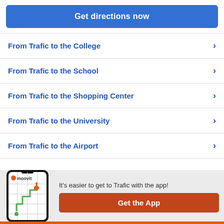Get directions now
From Trafic to the College
From Trafic to the School
From Trafic to the Shopping Center
From Trafic to the University
From Trafic to the Airport
[Figure (screenshot): Moovit app screenshot showing a map with a route]
It's easier to get to Trafic with the app!
Get the App